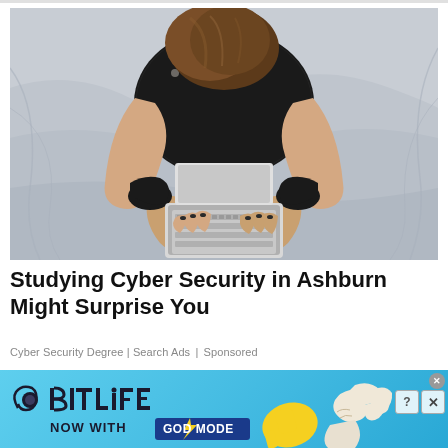[Figure (photo): Overhead view of a woman in a black floral sweater sitting cross-legged on a gray bed, using a laptop computer]
Studying Cyber Security in Ashburn Might Surprise You
Cyber Security Degree | Search Ads | Sponsored
[Figure (illustration): BitLife advertisement banner with light blue background showing BitLife logo with snail/circle icon and text 'NOW WITH GOD MODE' in a blue badge, plus illustrated hands and thumbs up emoji]